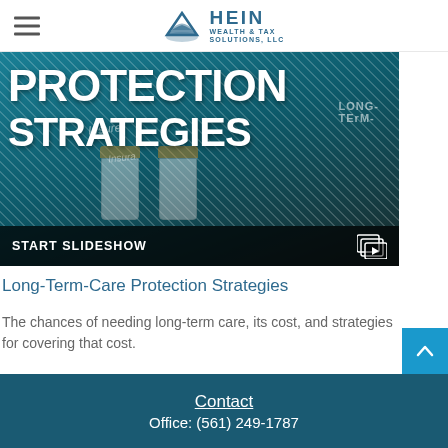Hein Wealth & Tax Solutions, LLC
[Figure (screenshot): Hero banner image showing pill/medicine bottles on a teal background with white bold text 'PROTECTION STRATEGIES' and a 'START SLIDESHOW' bar at the bottom with a slideshow icon.]
Long-Term-Care Protection Strategies
The chances of needing long-term care, its cost, and strategies for covering that cost.
Contact
Office: (561) 249-1787